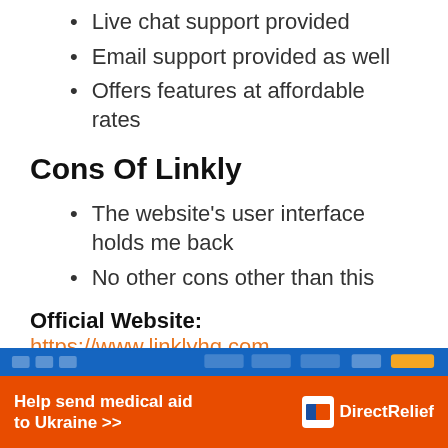Live chat support provided
Email support provided as well
Offers features at affordable rates
Cons Of Linkly
The website’s user interface holds me back
No other cons other than this
Official Website: https://www.linklyhq.com
8. Thrive Tracker
[Figure (screenshot): Partial screenshot of Thrive Tracker website with blue navigation bar visible at bottom of content area]
Help send medical aid to Ukraine >> Direct Relief